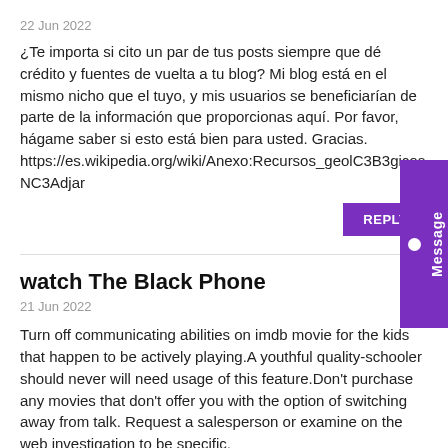22 Jun 2022
¿Te importa si cito un par de tus posts siempre que dé crédito y fuentes de vuelta a tu blog? Mi blog está en el mismo nicho que el tuyo, y mis usuarios se beneficiarían de parte de la información que proporcionas aquí. Por favor, hágame saber si esto está bien para usted. Gracias. https://es.wikipedia.org/wiki/Anexo:Recursos_geolC3B3gicos_NC3Adjar
REPLY
watch The Black Phone
21 Jun 2022
Turn off communicating abilities on imdb movie for the kids that happen to be actively playing.A youthful quality-schooler should never will need usage of this feature.Don't purchase any movies that don't offer you with the option of switching away from talk. Request a salesperson or examine on the web investigation to be specific. https://www.theblackphonemov.com/
REPLY